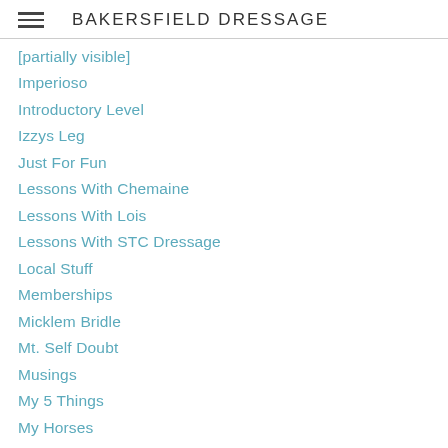BAKERSFIELD DRESSAGE
Imperioso
Introductory Level
Izzys Leg
Just For Fun
Lessons With Chemaine
Lessons With Lois
Lessons With STC Dressage
Local Stuff
Memberships
Micklem Bridle
Mt. Self Doubt
Musings
My 5 Things
My Horses
Nesting
On The Levels
Photos